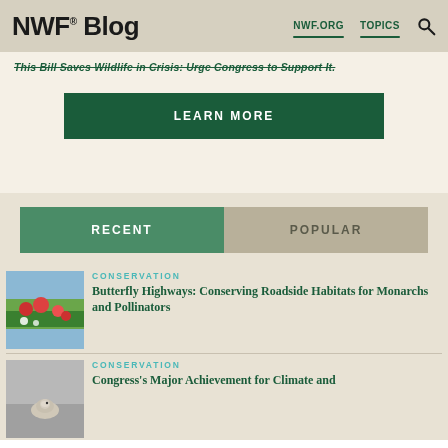NWF® Blog  NWF.ORG  TOPICS
This Bill Saves Wildlife in Crisis: Urge Congress to Support It.
LEARN MORE
RECENT   POPULAR
CONSERVATION
Butterfly Highways: Conserving Roadside Habitats for Monarchs and Pollinators
CONSERVATION
Congress's Major Achievement for Climate and